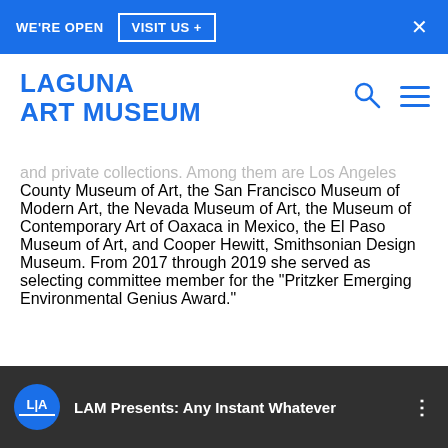WE'RE OPEN   VISIT US +   ×
[Figure (logo): Laguna Art Museum logo with search and menu icons]
and private collections. Among them are Los Angeles County Museum of Art, the San Francisco Museum of Modern Art, the Nevada Museum of Art, the Museum of Contemporary Art of Oaxaca in Mexico, the El Paso Museum of Art, and Cooper Hewitt, Smithsonian Design Museum. From 2017 through 2019 she served as selecting committee member for the "Pritzker Emerging Environmental Genius Award."
[Figure (screenshot): LAM Presents: Any Instant Whatever - bottom video/event strip with blue LAM circular logo badge on dark background]